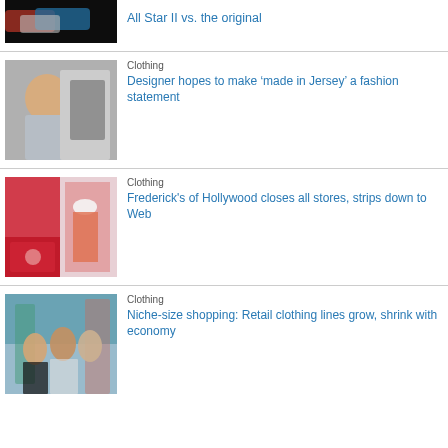[Figure (photo): Shoes photo (partial, top of page)]
All Star II vs. the original
[Figure (photo): Man smiling next to industrial sewing machine]
Clothing
Designer hopes to make ‘made in Jersey’ a fashion statement
[Figure (photo): Frederick's of Hollywood store interior with mannequin]
Clothing
Frederick's of Hollywood closes all stores, strips down to Web
[Figure (photo): Three women shopping in clothing store]
Clothing
Niche-size shopping: Retail clothing lines grow, shrink with economy